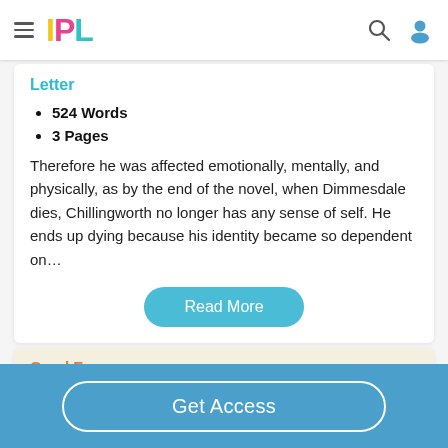IPL
Letter
524 Words
3 Pages
Therefore he was affected emotionally, mentally, and physically, as by the end of the novel, when Dimmesdale dies, Chillingworth no longer has any sense of self. He ends up dying because his identity became so dependent on…
Good Essays